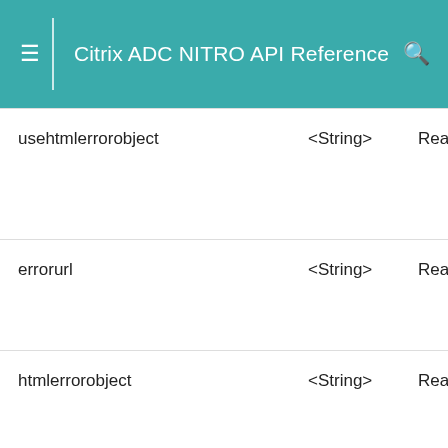Citrix ADC NITRO API Reference
| Parameter | Type | Access |
| --- | --- | --- |
| usehtmlerrorobject | <String> | Rea |
| errorurl | <String> | Rea |
| htmlerrorobject | <String> | Rea |